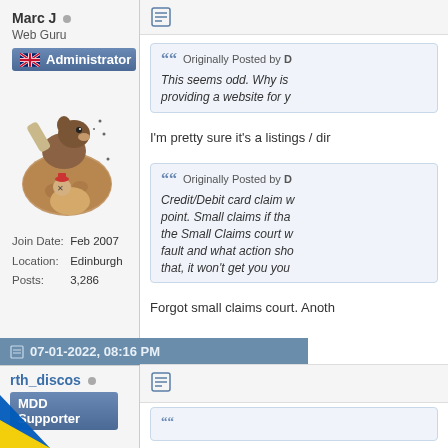Marc J
Web Guru
Administrator
[Figure (illustration): Cartoon avatar of a beaver hitting a chicken with a baseball bat]
Join Date: Feb 2007
Location: Edinburgh
Posts: 3,286
Originally Posted by D
This seems odd. Why is providing a website for y
I'm pretty sure it's a listings / dir
Originally Posted by D
Credit/Debit card claim w point. Small claims if tha the Small Claims court w fault and what action sho that, it won't get you you
Forgot small claims court. Anoth
07-01-2022, 08:16 PM
rth_discos
MDD Supporter